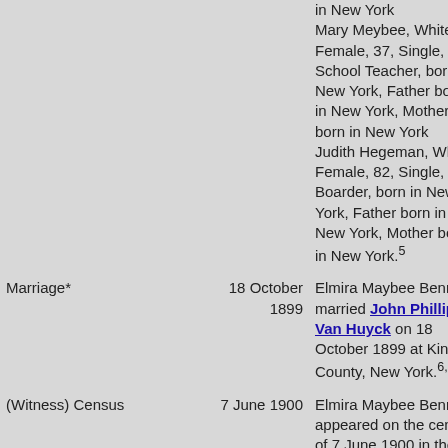| Event | Date | Description |
| --- | --- | --- |
|  |  | in New York
Mary Meybee, White, Female, 37, Single, School Teacher, born in New York, Father born in New York, Mother born in New York
Judith Hegeman, White, Female, 82, Single, Boarder, born in New York, Father born in New York, Mother born in New York.5 |
| Marriage* | 18 October 1899 | Elmira Maybee Bennett married John Phillips Van Huyck on 18 October 1899 at Kings County, New York.6,7 |
| (Witness) Census | 7 June 1900 | Elmira Maybee Bennett appeared on the census of 7 June 1900 in the household of Elbert Hegeman Bennett and Mary Elizabeth Maybee at 701 Greene Avenue |